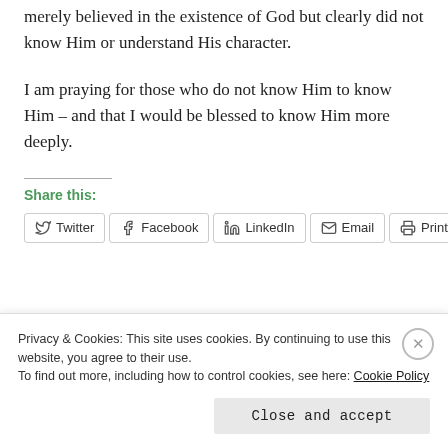merely believed in the existence of God but clearly did not know Him or understand His character.
I am praying for those who do not know Him to know Him – and that I would be blessed to know Him more deeply.
Share this:
[Figure (screenshot): Social share buttons row: Twitter, Facebook, LinkedIn, Email, Print]
Privacy & Cookies: This site uses cookies. By continuing to use this website, you agree to their use.
To find out more, including how to control cookies, see here: Cookie Policy
Close and accept